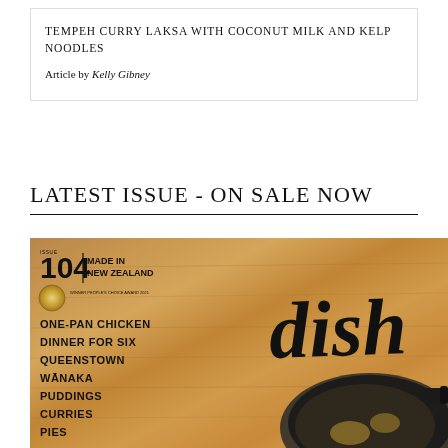TEMPEH CURRY LAKSA WITH COCONUT MILK AND KELP NOODLES
Article by Kelly Gibney
LATEST ISSUE - ON SALE NOW
[Figure (photo): Cover of Dish magazine Issue 104 Made in New Zealand, Winner People's Choice Award 2021. Cover features cast iron pan on wooden surface with dish logo in script. Cover lines: ONE-PAN CHICKEN, DINNER FOR SIX, QUEENSTOWN, WANAKA, PUDDINGS, CURRIES, PIES]